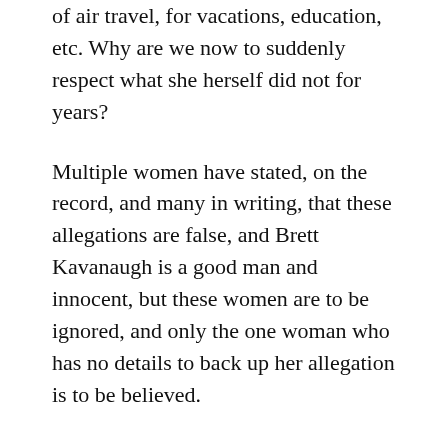she is afraid to fly, yet has an extensive history of air travel, for vacations, education, etc. Why are we now to suddenly respect what she herself did not for years?
Multiple women have stated, on the record, and many in writing, that these allegations are false, and Brett Kavanaugh is a good man and innocent, but these women are to be ignored, and only the one woman who has no details to back up her allegation is to be believed.
Finally, we have testimony, where she, a PhD, says she doesn't know what exculpatory means (if true, her degree should be revoked,) and she used up-talking, a common psychological trick used when lying, while Kavanaugh, naturally,